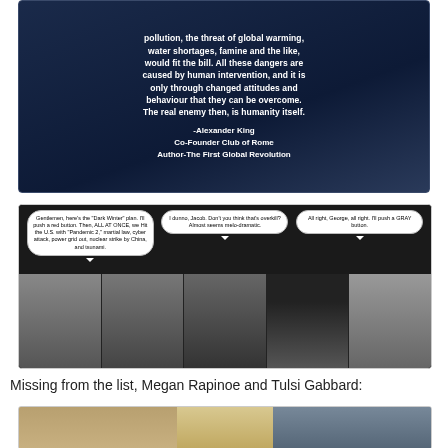[Figure (photo): Dark blue textured background quote card with white bold text quoting Alexander King, Co-Founder Club of Rome, Author of The First Global Revolution. Text reads: 'pollution, the threat of global warming, water shortages, famine and the like, would fit the bill. All these dangers are caused by human intervention, and it is only through changed attitudes and behaviour that they can be overcome. The real enemy then, is humanity itself.' Attribution: -Alexander King, Co-Founder Club of Rome, Author-The First Global Revolution]
[Figure (photo): Conspiracy meme image showing photos of figures identified as Bill Gates, Warren Buffett, George Soros, and Jacob Rothschild with speech bubbles. Bubble 1: 'Gentlemen, here's the "Dark Winter" plan. I'll push a red button. Then, ALL AT ONCE, we Hit the U.S. with "Pandemic 2," martial law, cyber attack, power grid out, nuclear strike by China, and tsunami.' Bubble 2: 'I dunno, Jacob. Don't you think that's overkill? Almost seems melo-dramatic.' Bubble 3: 'All right, George, all right. I'll push a GRAY button.']
Missing from the list, Megan Rapinoe and Tulsi Gabbard:
[Figure (photo): Partial bottom strip showing cropped photos, likely of Megan Rapinoe and Tulsi Gabbard, cut off at bottom of page.]